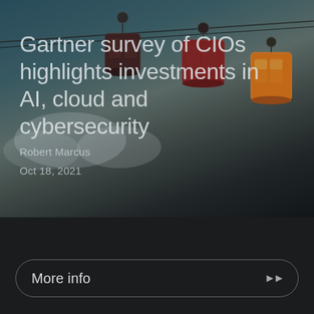[Figure (photo): Background photo of cable car gondolas hanging on wires against a partly cloudy sky, with a dark overlay. Three gondolas visible — dark maroon/brown on left, red in center, orange/yellow on right.]
Gartner survey of CIOs highlights investments in AI, cloud and cybersecurity
Robert Marcus
Oct 18, 2021
More info